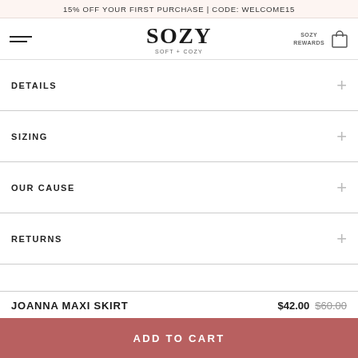15% OFF YOUR FIRST PURCHASE | CODE: WELCOME15
[Figure (logo): SOZY - SOFT + COZY logo with hamburger menu, rewards, and cart icons]
DETAILS
SIZING
OUR CAUSE
RETURNS
JOANNA MAXI SKIRT  $42.00  $60.00
ADD TO CART